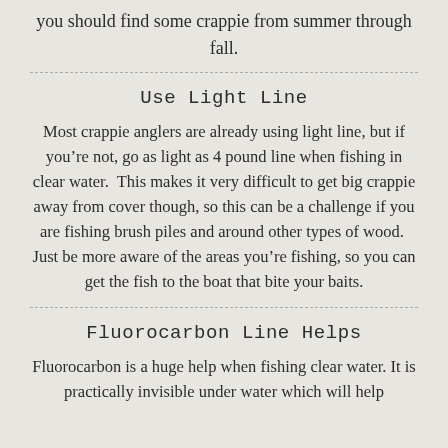you should find some crappie from summer through fall.
Use Light Line
Most crappie anglers are already using light line, but if you're not, go as light as 4 pound line when fishing in clear water.  This makes it very difficult to get big crappie away from cover though, so this can be a challenge if you are fishing brush piles and around other types of wood.  Just be more aware of the areas you're fishing, so you can get the fish to the boat that bite your baits.
Fluorocarbon Line Helps
Fluorocarbon is a huge help when fishing clear water. It is practically invisible under water which will help